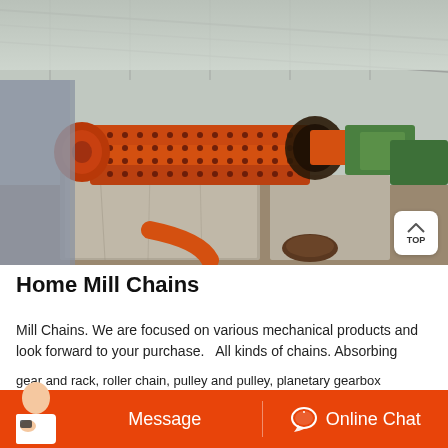[Figure (photo): Industrial ball mill machine inside a warehouse/factory. A large orange cylindrical ball mill with bolted flanges dominates the center-left. Orange and green machinery/motors are visible to the right. Concrete blocks are in the foreground. Metal roof structure visible above.]
Home Mill Chains
Mill Chains. We are focused on various mechanical products and look forward to your purchase.  All kinds of chains. Absorbing
gear and rack, roller chain, pulley and pulley, planetary gearbox